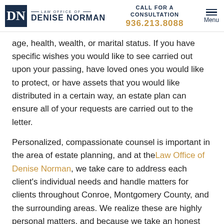LAW OFFICE OF DENISE NORMAN | CALL FOR A CONSULTATION | 936.213.8088 | Menu
age, health, wealth, or marital status. If you have specific wishes you would like to see carried out upon your passing, have loved ones you would like to protect, or have assets that you would like distributed in a certain way, an estate plan can ensure all of your requests are carried out to the letter.
Personalized, compassionate counsel is important in the area of estate planning, and at the Law Office of Denise Norman, we take care to address each client's individual needs and handle matters for clients throughout Conroe, Montgomery County, and the surrounding areas. We realize these are highly personal matters, and because we take an honest and no-nonsense approach to all of our clients' cases, you can trust that we will clearly explain your options and guide you in